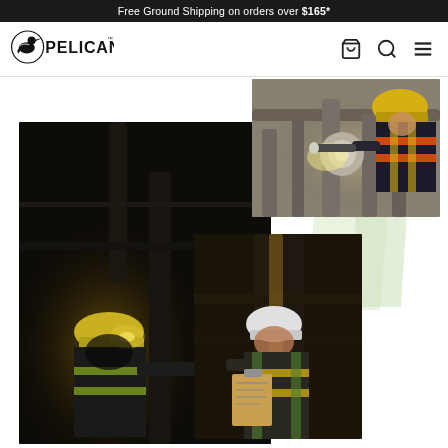Free Ground Shipping on orders over $165*
[Figure (logo): Pelican brand logo with pelican bird icon and PELICAN text]
[Figure (photo): Three overlapping industrial/worker photos: large left photo of worker in hard hat and safety vest working in dark industrial setting with handheld light; top right photo of worker in yellow hard hat and orange safety vest using a flashlight to inspect machinery; bottom center photo of worker in white hard hat and safety vest holding clipboard in industrial setting]